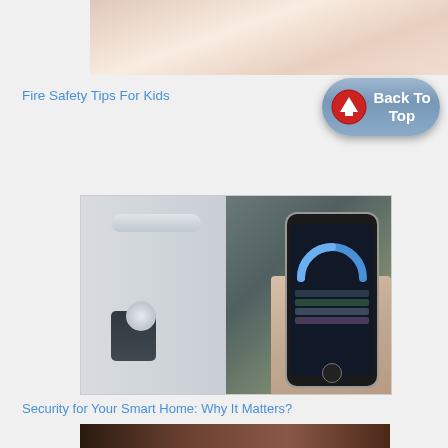[Figure (photo): Partial top image, appears to be a soft-focus photo with warm pinkish tones, partially cropped at top]
Fire Safety Tips For Kids
[Figure (illustration): Back To Top button — rounded pill-shaped button with blue/grey gradient, red circle icon with white upward arrow on left, bold white text 'Back To Top' on right, with a reflection below]
[Figure (photo): Smart home security image showing a electronic door lock on a white door on the left half, and a hand holding a smartphone with a dark control app screen on the right half, with blurred green background]
Security for Your Smart Home: Why It Matters?
[Figure (photo): Partial bottom image showing a dark-toned photo, partially cropped, appears to show a person]